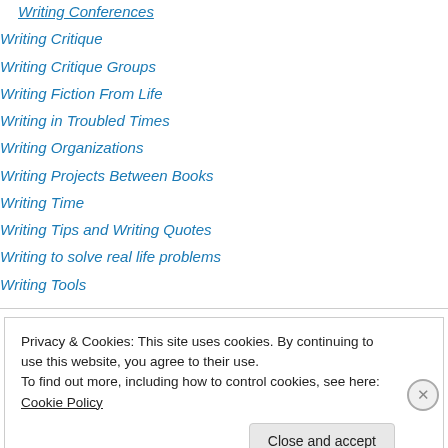Writing Conferences
Writing Critique
Writing Critique Groups
Writing Fiction From Life
Writing in Troubled Times
Writing Organizations
Writing Projects Between Books
Writing Time
Writing Tips and Writing Quotes
Writing to solve real life problems
Writing Tools
Privacy & Cookies: This site uses cookies. By continuing to use this website, you agree to their use. To find out more, including how to control cookies, see here: Cookie Policy
Close and accept